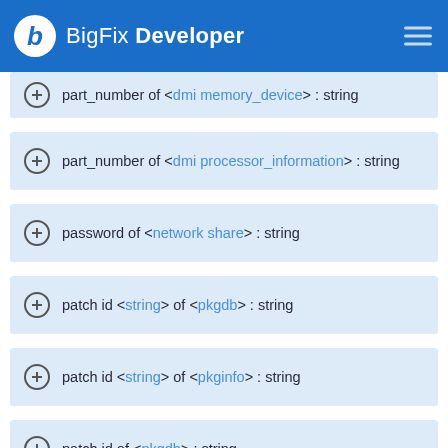BigFix Developer
part_number of <dmi memory_device> : string
part_number of <dmi processor_information> : string
password of <network share> : string
patch id <string> of <pkgdb> : string
patch id <string> of <pkginfo> : string
patch id of <pkgdb> : string
patch id of <pkginfo> : string